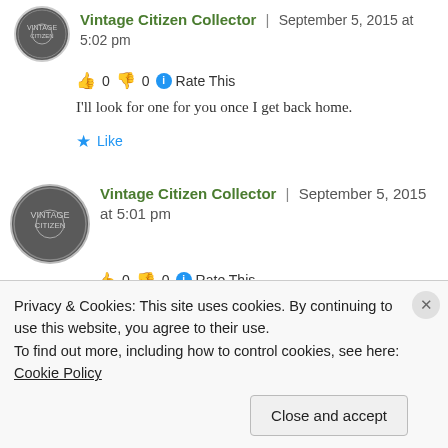Vintage Citizen Collector | September 5, 2015 at 5:02 pm
👍 0 👎 0 ℹ Rate This
I'll look for one for you once I get back home.
★ Like
Vintage Citizen Collector | September 5, 2015 at 5:01 pm
👍 0 👎 0 ℹ Rate This
Privacy & Cookies: This site uses cookies. By continuing to use this website, you agree to their use.
To find out more, including how to control cookies, see here: Cookie Policy
Close and accept